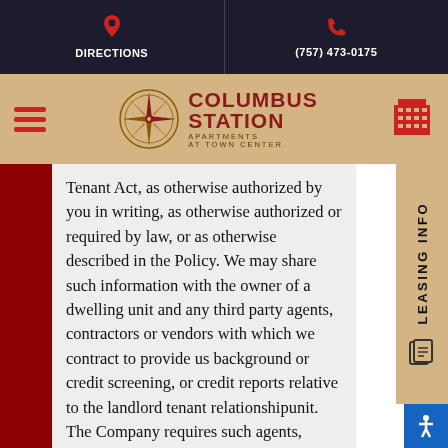DIRECTIONS | (757) 473-0175
[Figure (logo): Columbus Station Apartments at Town Center logo with compass rose]
Tenant Act, as otherwise authorized by you in writing, as otherwise authorized or required by law, or as otherwise described in the Policy. We may share such information with the owner of a dwelling unit and any third party agents, contractors or vendors with which we contract to provide us background or credit screening, or credit reports relative to the landlord tenant relationshipunit. The Company requires such agents, contractors and vendors to